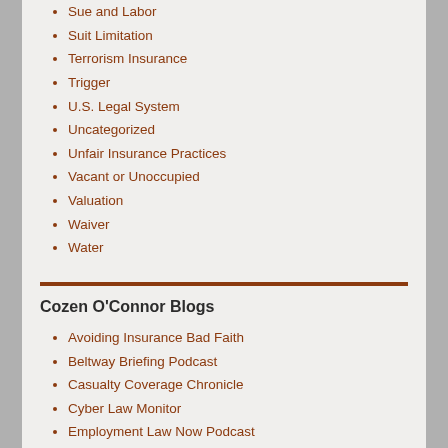Sue and Labor
Suit Limitation
Terrorism Insurance
Trigger
U.S. Legal System
Uncategorized
Unfair Insurance Practices
Vacant or Unoccupied
Valuation
Waiver
Water
Cozen O'Connor Blogs
Avoiding Insurance Bad Faith
Beltway Briefing Podcast
Casualty Coverage Chronicle
Cyber Law Monitor
Employment Law Now Podcast
Family Law Focus
Get the Dirt